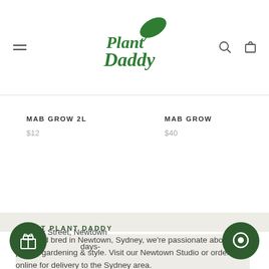Plant Daddy — navigation header with hamburger menu, logo, search and cart icons
MAB GROW 2L
$12
MAB GROW
$40
ABOUT PLANT DADDY
Born and bred in Newtown, Sydney, we're passionate about plants, gardening & style. Visit our Newtown Studio or order online for delivery to the Sydney area.
90 Knox Street, Newtown
Open days-